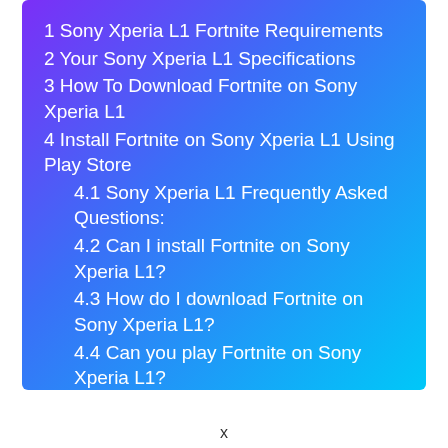1  Sony Xperia L1 Fortnite Requirements
2  Your Sony Xperia L1 Specifications
3  How To Download Fortnite on Sony Xperia L1
4  Install Fortnite on Sony Xperia L1 Using Play Store
4.1  Sony Xperia L1 Frequently Asked Questions:
4.2  Can I install Fortnite on Sony Xperia L1?
4.3  How do I download Fortnite on Sony Xperia L1?
4.4  Can you play Fortnite on Sony Xperia L1?
4.5  Can you get free V-Bucks on Sony Xperia L1?
4.6  How do I get V Bucks on my Sony Xperia L1?
x